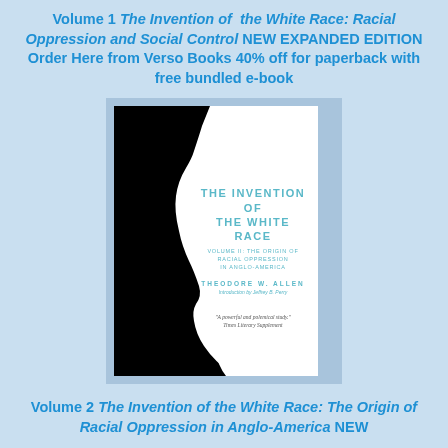Volume 1 The Invention of the White Race: Racial Oppression and Social Control NEW EXPANDED EDITION Order Here from Verso Books 40% off for paperback with free bundled e-book
[Figure (photo): Book cover of 'The Invention of the White Race, Volume II: The Origin of Racial Oppression in Anglo-America' by Theodore W. Allen, with introduction by Jeffrey B. Perry. Cover shows a black and white silhouette of a human face profile. Quote: 'A powerful and polemical study.' Times Literary Supplement.]
Volume 2 The Invention of the White Race: The Origin of Racial Oppression in Anglo-America NEW